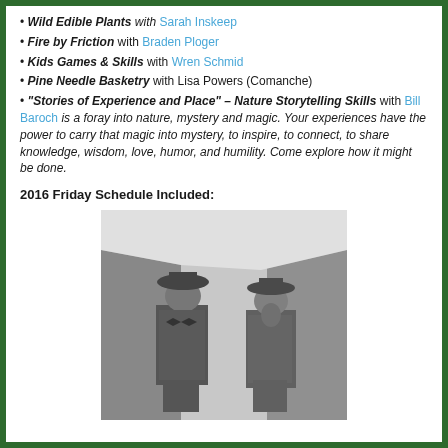Wild Edible Plants with Sarah Inskeep
Fire by Friction with Braden Ploger
Kids Games & Skills with Wren Schmid
Pine Needle Basketry with Lisa Powers (Comanche)
“Stories of Experience and Place” – Nature Storytelling Skills with Bill Baroch is a foray into nature, mystery and magic. Your experiences have the power to carry that magic into mystery, to inspire, to connect, to share knowledge, wisdom, love, humor, and humility. Come explore how it might be done.
2016 Friday Schedule Included:
[Figure (photo): Black and white historical photograph of two men wearing wide-brimmed hats and long coats, standing in front of a mountainous landscape, likely Yosemite Valley.]